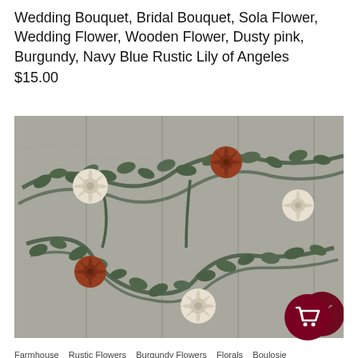Wedding Bouquet, Bridal Bouquet, Sola Flower, Wedding Flower, Wooden Flower, Dusty pink, Burgundy, Navy Blue Rustic Lily of Angeles $15.00
[Figure (photo): A floral garland arrangement with eucalyptus greenery and sola flowers in cream/white and burnt orange/rust tones, laid flat on a gray wooden plank background. A dark red/maroon circular shopping cart button is visible in the lower right corner of the image.]
Farmhouse    Rustic Flowers    Burgundy Flowers    Florals    Boulosie